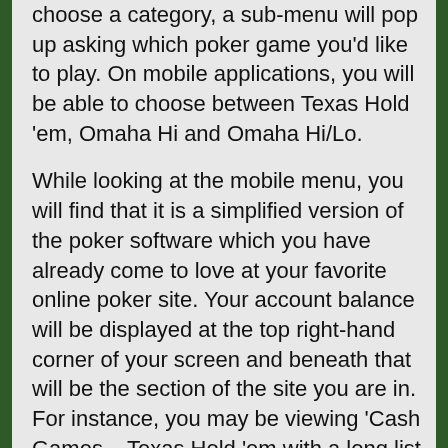choose a category, a sub-menu will pop up asking which poker game you'd like to play. On mobile applications, you will be able to choose between Texas Hold 'em, Omaha Hi and Omaha Hi/Lo.
While looking at the mobile menu, you will find that it is a simplified version of the poker software which you have already come to love at your favorite online poker site. Your account balance will be displayed at the top right-hand corner of your screen and beneath that will be the section of the site you are in. For instance, you may be viewing 'Cash Games – Texas Hold 'em with a long list of tables which you can scroll through beneath that. You will notice that the tables are in descending order from the highest bets to the lowest with the prices displayed on the left-hand side of the menu. On the ride side, you will see whether or not a table has a fixed limit or if it has no limit, as well as the number of players currently sitting at the table and what the maximum amount of players